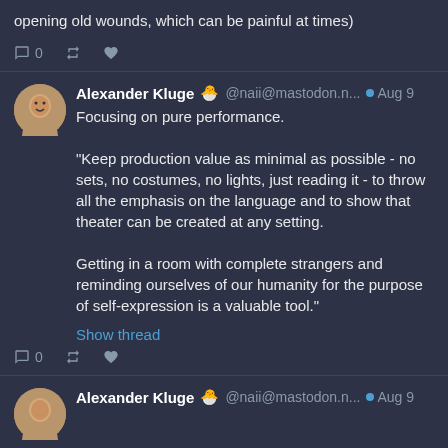opening old wounds, which can be painful at times)
Alexander Kluge 🐣 @naii@mastodon.n... Aug 9
Focusing on pure performance.

“Keep production value as minimal as possible - no sets, no costumes, no lights, just reading it - to throw all the emphasis on the language and to show that theater can be created at any setting.

Getting in a room with complete strangers and reminding ourselves of our humanity for the purpose of self-expression is a valuable tool.”
Show thread
Alexander Kluge 🐣 @naii@mastodon.n... Aug 9